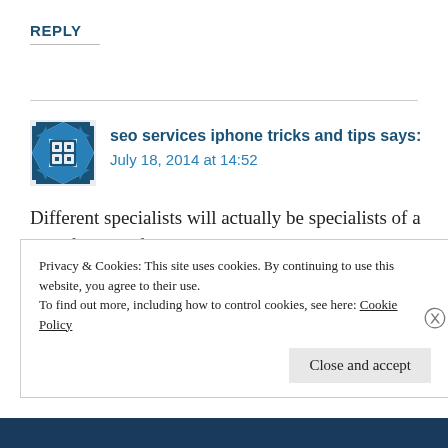REPLY
seo services iphone tricks and tips says:
July 18, 2014 at 14:52
Different specialists will actually be specialists of a specific part of SEO.
Where there are no limits of advertisements, then there is no limit of videos
for advertisement. Using CSS sprites is the best way
Privacy & Cookies: This site uses cookies. By continuing to use this website, you agree to their use.
To find out more, including how to control cookies, see here: Cookie Policy
Close and accept